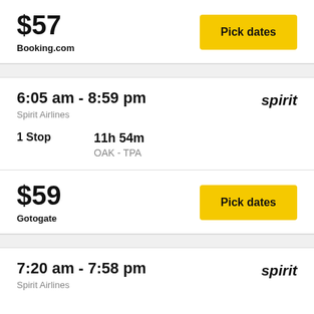$57
Booking.com
Pick dates
6:05 am - 8:59 pm
Spirit Airlines
spirit
1 Stop
11h 54m
OAK - TPA
$59
Gotogate
Pick dates
7:20 am - 7:58 pm
Spirit Airlines
spirit